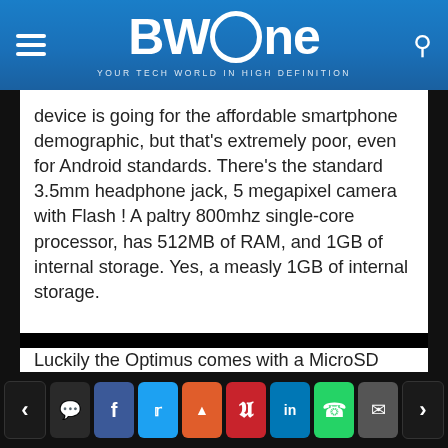BWOne — YOUR TECH WORLD IN HIGH DEFINITION
device is going for the affordable smartphone demographic, but that's extremely poor, even for Android standards. There's the standard 3.5mm headphone jack, 5 megapixel camera with Flash ! A paltry 800mhz single-core processor, has 512MB of RAM, and 1GB of internal storage. Yes, a measly 1GB of internal storage.
Luckily the Optimus comes with a MicroSD card slot and accepts 32GB of additional memory if necessary. But why would anyone want to put that much memory in a device like this anyway. Continuing on, this device has no ambient light sensor or front facing camera so LG is really trying to give less for your buck.
Navigation and social sharing buttons